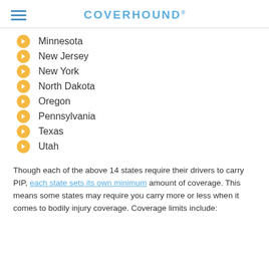COVERHOUND®
Minnesota
New Jersey
New York
North Dakota
Oregon
Pennsylvania
Texas
Utah
Though each of the above 14 states require their drivers to carry PIP, each state sets its own minimum amount of coverage. This means some states may require you carry more or less when it comes to bodily injury coverage. Coverage limits include: